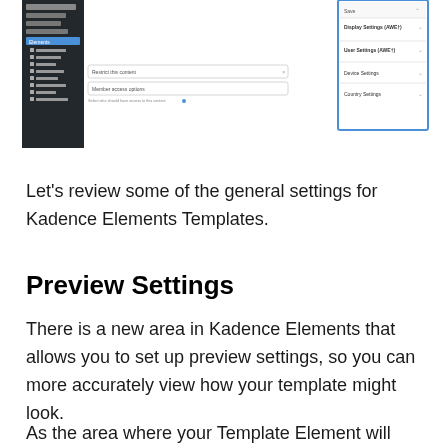[Figure (screenshot): Screenshot of a WordPress/Kadence Elements admin interface showing a dark left sidebar with menu items (Dashboard, Projects, About, Kadence, Elements highlighted in blue, Plugins, Users, Tools, Settings, Security, Restrict, Contact Info), a content area with 'Restrict this content' and 'Member access options' form fields, and a right panel bordered in blue showing Display Settings (AWE†), User Settings (AWE†), Device Settings, Country Settings dropdown items.]
Let’s review some of the general settings for Kadence Elements Templates.
Preview Settings
There is a new area in Kadence Elements that allows you to set up preview settings, so you can more accurately view how your template might look.
As the area where your Template Element will reside